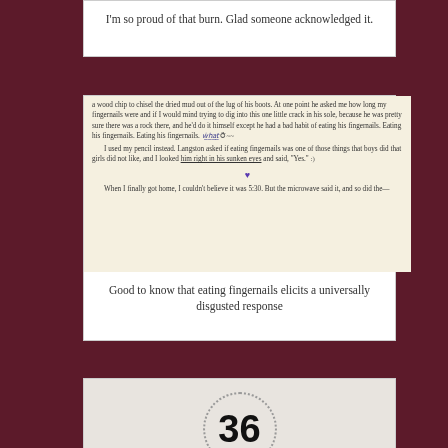I'm so proud of that burn. Glad someone acknowledged it.
[Figure (photo): Photo of a book page with handwritten annotations in purple ink, including underlined text 'him right in his sunken eyes', a smiley face doodle, a heart, and wavy annotation marks]
Good to know that eating fingernails elicits a universally disgusted response
[Figure (photo): Photo of a white garment showing the number 36 inside a dotted circle, with a label on the right side]